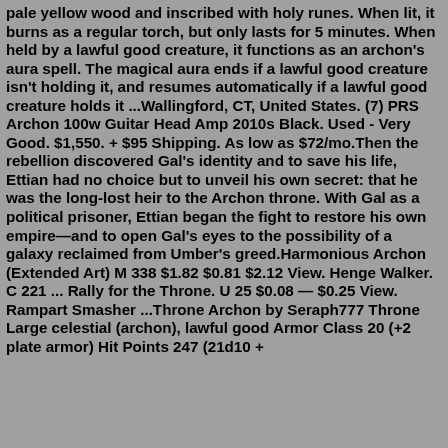pale yellow wood and inscribed with holy runes. When lit, it burns as a regular torch, but only lasts for 5 minutes. When held by a lawful good creature, it functions as an archon's aura spell. The magical aura ends if a lawful good creature isn't holding it, and resumes automatically if a lawful good creature holds it ...Wallingford, CT, United States. (7) PRS Archon 100w Guitar Head Amp 2010s Black. Used - Very Good. $1,550. + $95 Shipping. As low as $72/mo.Then the rebellion discovered Gal's identity and to save his life, Ettian had no choice but to unveil his own secret: that he was the long-lost heir to the Archon throne. With Gal as a political prisoner, Ettian began the fight to restore his own empire—and to open Gal's eyes to the possibility of a galaxy reclaimed from Umber's greed.Harmonious Archon (Extended Art) M 338 $1.82 $0.81 $2.12 View. Henge Walker. C 221 ... Rally for the Throne. U 25 $0.08 — $0.25 View. Rampart Smasher ...Throne Archon by Seraph777 Throne Large celestial (archon), lawful good Armor Class 20 (+2 plate armor) Hit Points 247 (21d10 +